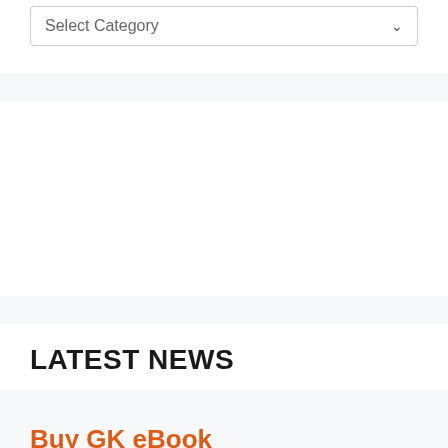Select Category
LATEST NEWS
Buy GK eBook